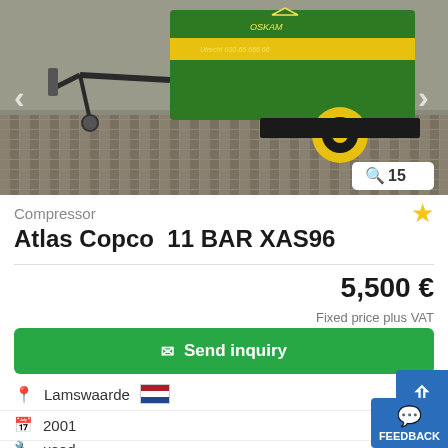[Figure (photo): Green Atlas Copco trailer-mounted air compressor (XAS96) with yellow stripe and John Deere-style colors, photographed on a brick pavement. Navigation arrows on left and right sides. Photo count badge showing 15 in bottom right.]
Compressor
Atlas Copco  11 BAR XAS96
5,500 €
Fixed price plus VAT
Send inquiry
Lamswaarde
2001
used